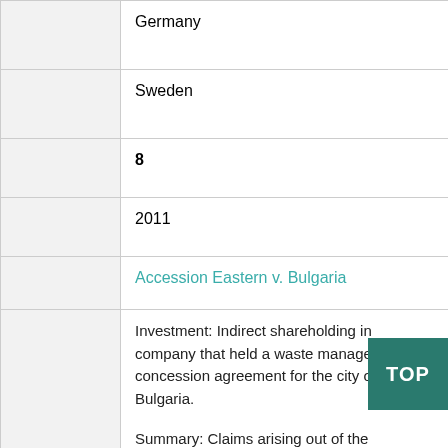|  | Germany |
|  | Sweden |
|  | 8 |
|  | 2011 |
|  | Accession Eastern v. Bulgaria |
|  | Investment: Indirect shareholding in company that held a waste management concession agreement for the city of Sofia, Bulgaria.

Summary: Claims arising out of the Government's early termination of a 15-year concession to provide waste collection, street cleaning and snow-clearing services in Sofia, Bulgaria, due to alleged health and safety concerns. |
|  | Discontinued |